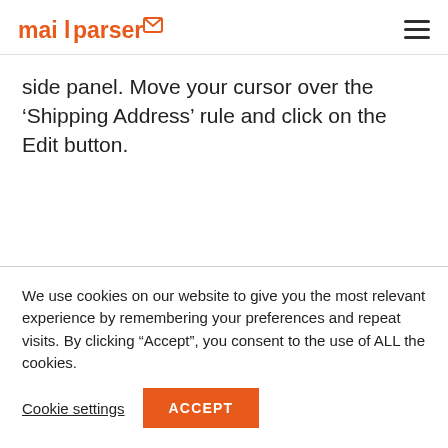mailparser [logo]
side panel. Move your cursor over the ‘Shipping Address’ rule and click on the Edit button.
We use cookies on our website to give you the most relevant experience by remembering your preferences and repeat visits. By clicking “Accept”, you consent to the use of ALL the cookies.
Cookie settings  ACCEPT